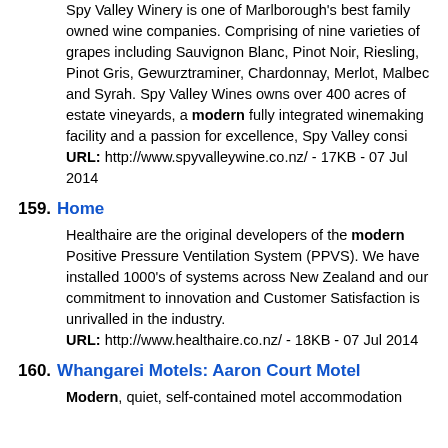Spy Valley Winery is one of Marlborough's best family owned wine companies. Comprising of nine varieties of grapes including Sauvignon Blanc, Pinot Noir, Riesling, Pinot Gris, Gewurztraminer, Chardonnay, Merlot, Malbec and Syrah. Spy Valley Wines owns over 400 acres of estate vineyards, a modern fully integrated winemaking facility and a passion for excellence, Spy Valley consi
URL: http://www.spyvalleywine.co.nz/ - 17KB - 07 Jul 2014
159. Home
Healthaire are the original developers of the modern Positive Pressure Ventilation System (PPVS). We have installed 1000's of systems across New Zealand and our commitment to innovation and Customer Satisfaction is unrivalled in the industry.
URL: http://www.healthaire.co.nz/ - 18KB - 07 Jul 2014
160. Whangarei Motels: Aaron Court Motel
Modern, quiet, self-contained motel accommodation